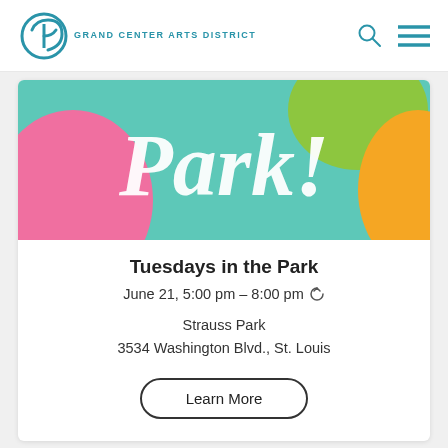GRAND CENTER ARTS DISTRICT
[Figure (illustration): Colorful event banner with 'Park!' text in white script on teal background with pink, orange, and green shapes]
Tuesdays in the Park
June 21, 5:00 pm – 8:00 pm ↺
Strauss Park
3534 Washington Blvd., St. Louis
Learn More
[Figure (illustration): Bottom strip showing partial colorful banner in red and yellow]